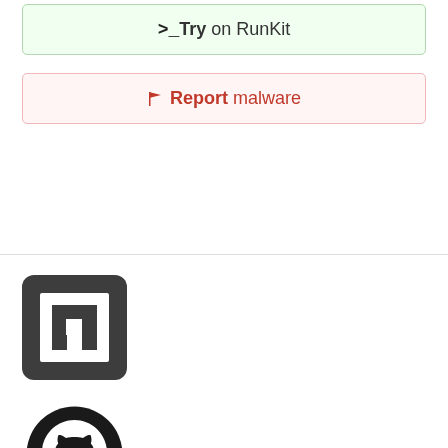>_Try on RunKit
🚩Report malware
[Figure (logo): npm logo: dark square with white 'n' letter mark inside]
[Figure (logo): GitHub Octocat logo in black]
Support